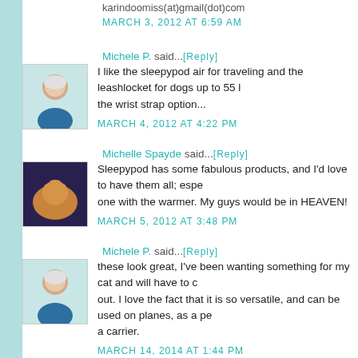karindoomiss(at)gmail(dot)com
MARCH 3, 2012 AT 6:59 AM
Michele P. said...[Reply]
I like the sleepypod air for traveling and the leashlocket for dogs up to 55 lbs with the wrist strap option...
MARCH 4, 2012 AT 4:22 PM
Michelle Spayde said...[Reply]
Sleepypod has some fabulous products, and I'd love to have them all; espe... one with the warmer. My guys would be in HEAVEN!
MARCH 5, 2012 AT 3:48 PM
Michele P. said...[Reply]
these look great, I've been wanting something for my cat and will have to c... out. I love the fact that it is so versatile, and can be used on planes, as a pe... a carrier.
MARCH 14, 2014 AT 1:44 PM
POST A COMMENT